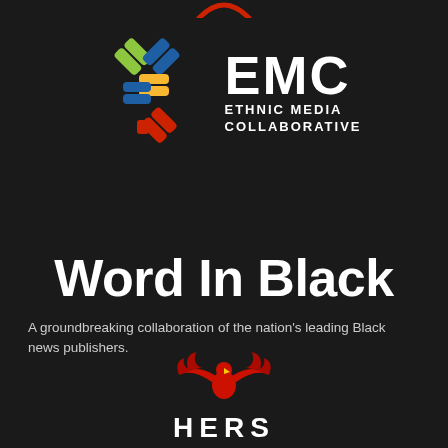[Figure (logo): Red arc/partial circle logo at top center]
[Figure (logo): EMC Ethnic Media Collaborative logo — colorful interlocking woven X pattern in green, blue, yellow, red on left; large white bold EMC letters with ETHNIC MEDIA COLLABORATIVE subtitle on right]
Word In Black
A groundbreaking collaboration of the nation's leading Black news publishers.
[Figure (logo): Red phoenix/eagle bird logo at bottom center]
HERS